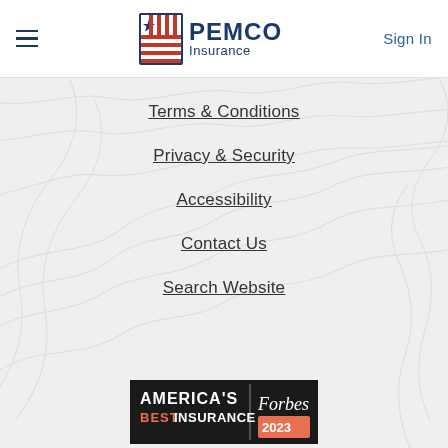[Figure (logo): PEMCO Insurance logo with American flag icon and hamburger menu, Sign In button on right]
Terms & Conditions
Privacy & Security
Accessibility
Contact Us
Search Website
[Figure (photo): Forbes America's Best Insurance badge - partially visible at bottom]